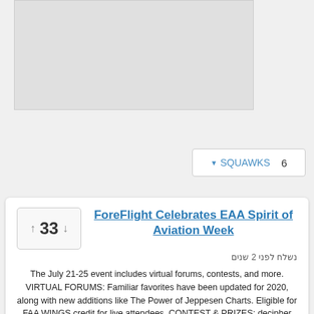[Figure (other): Grey placeholder image area at the top of the page]
▼ SQUAWKS   6
ForeFlight Celebrates EAA Spirit of Aviation Week
נשלח לפני 2 שנים
The July 21-25 event includes virtual forums, contests, and more. VIRTUAL FORUMS: Familiar favorites have been updated for 2020, along with new additions like The Power of Jeppesen Charts. Eligible for FAA WINGS credit for live attendees. CONTEST & PRIZES: decipher daily hints found on ForeFlight's social channels to build routes in ForeFlight that create a letter or number. Daily and grand prize winners. עוד... (foreflight.com)
פרסם את התגובה הראשונה כעת!